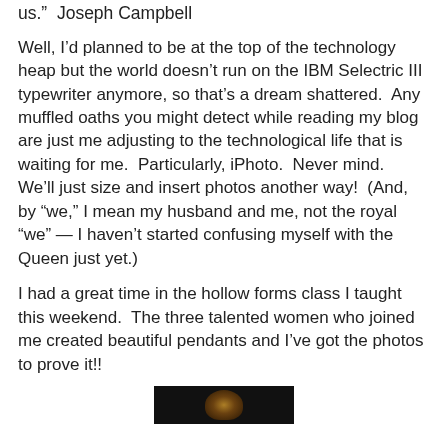us.”  Joseph Campbell
Well, I’d planned to be at the top of the technology heap but the world doesn’t run on the IBM Selectric III typewriter anymore, so that’s a dream shattered.  Any muffled oaths you might detect while reading my blog are just me adjusting to the technological life that is waiting for me.  Particularly, iPhoto.  Never mind.  We’ll just size and insert photos another way!  (And, by “we,” I mean my husband and me, not the royal “we” — I haven’t started confusing myself with the Queen just yet.)
I had a great time in the hollow forms class I taught this weekend.  The three talented women who joined me created beautiful pendants and I’ve got the photos to prove it!!
[Figure (photo): A dark photo showing a glowing golden pendant or figure against a black background, partially visible at the bottom of the page.]